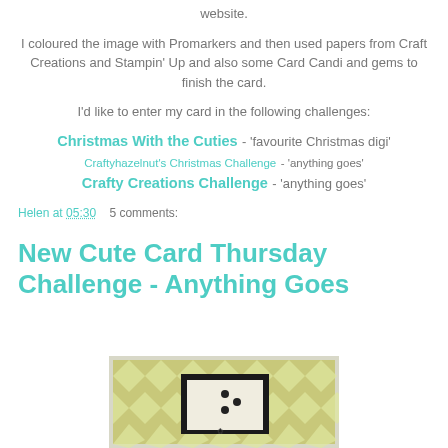website.
I coloured the image with Promarkers and then used papers from Craft Creations and Stampin' Up and also some Card Candi and gems to finish the card.
I'd like to enter my card in the following challenges:
Christmas With the Cuties - 'favourite Christmas digi'
Craftyhazelnut's Christmas Challenge - 'anything goes'
Crafty Creations Challenge - 'anything goes'
Helen at 05:30   5 comments:
New Cute Card Thursday Challenge - Anything Goes
[Figure (photo): Photo of a handmade card with yellow-green harlequin/diamond pattern paper and a dark central panel with small decorative embellishments]